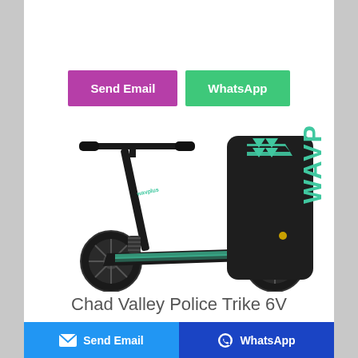[Figure (other): Two buttons: 'Send Email' (purple/magenta) and 'WhatsApp' (green)]
[Figure (photo): A black and teal Wavplus kick scooter with large wheels, shown alongside a vertical close-up of the scooter deck grip tape branded 'WAVPLUS']
Chad Valley Police Trike 6V
[Figure (other): Footer bar with 'Send Email' button (blue, with envelope icon) on the left and 'WhatsApp' button (dark blue, with WhatsApp icon) on the right]